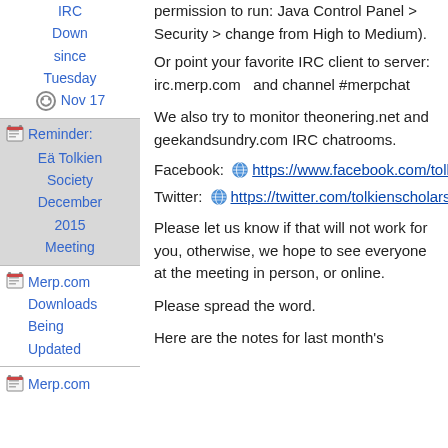permission to run: Java Control Panel > Security > change from High to Medium).
Or point your favorite IRC client to server: irc.merp.com and channel #merpchat
IRC Down since Tuesday Nov 17
We also try to monitor theonering.net and geekandsundry.com IRC chatrooms.
Reminder: Eä Tolkien Society December 2015 Meeting
Facebook: https://www.facebook.com/tolkienscholars
Twitter: https://twitter.com/tolkienscholars
Please let us know if that will not work for you, otherwise, we hope to see everyone at the meeting in person, or online.
Please spread the word.
Merp.com Downloads Being Updated
Here are the notes for last month's